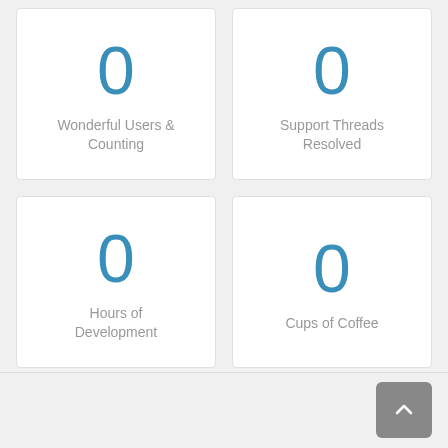0
Wonderful Users & Counting
0
Support Threads Resolved
0
Hours of Development
0
Cups of Coffee